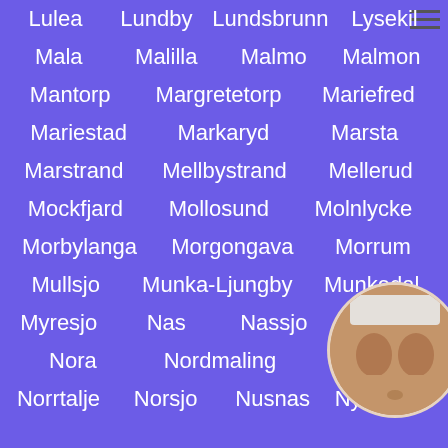Lulea
Lundby
Lundsbrunn
Lysekil
Mala
Malilla
Malmo
Malmon
Mantorp
Margretetorp
Mariefred
Mariestad
Markaryd
Marsta
Marstrand
Mellbystrand
Mellerud
Mockfjard
Mollosund
Molnlycke
Morbylanga
Morgongava
Morrum
Mullsjo
Munka-Ljungby
Munkedal
Myresjo
Nas
Nassjo
Nora
Nordmaling
Norrtalje
Norsjo
Nusnas
Nykoping
[Figure (photo): Circular avatar image of a female torso]